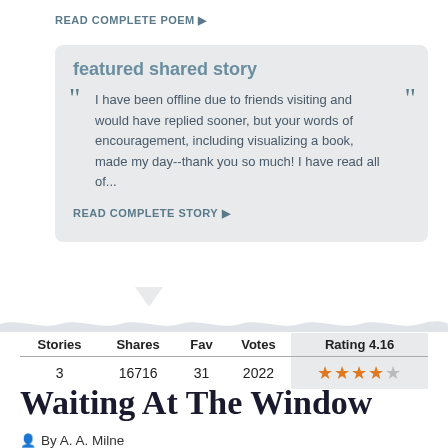READ COMPLETE POEM ▶
featured shared story
I have been offline due to friends visiting and would have replied sooner, but your words of encouragement, including visualizing a book, made my day--thank you so much! I have read all of...
READ COMPLETE STORY ▶
| Stories | Shares | Fav | Votes | Rating 4.16 |
| --- | --- | --- | --- | --- |
| 3 | 16716 | 31 | 2022 | ★★★★☆ |
Waiting At The Window
By A. A. Milne